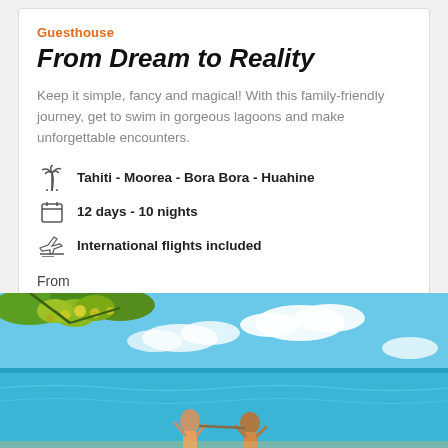Guesthouse
From Dream to Reality
Keep it simple, fancy and magical! With this family-friendly journey, get to swim in gorgeous lagoons and make unforgettable encounters.
Tahiti - Moorea - Bora Bora - Huahine
12 days - 10 nights
International flights included
From
2 692 €/pers.
[Figure (photo): A couple enjoying a tropical beach with turquoise lagoon water, trees with yellow fruits overhead, blue sky with clouds in the background (Polynesia/Tahiti).]